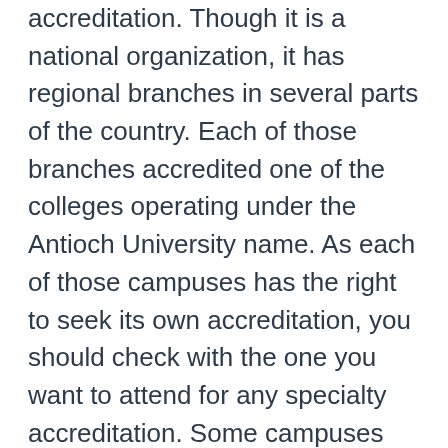accreditation. Though it is a national organization, it has regional branches in several parts of the country. Each of those branches accredited one of the colleges operating under the Antioch University name. As each of those campuses has the right to seek its own accreditation, you should check with the one you want to attend for any specialty accreditation. Some campuses have accreditation from professional organizations like the American Psychological Association, Accreditation Board for Engineering & Technology, Inc., American Association for Marriage and Family Therapy or National Council for Accreditation of Teacher Education.